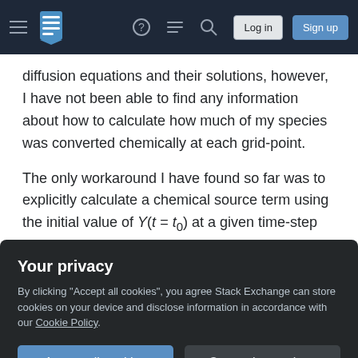Stack Exchange navigation bar with Log in and Sign up buttons
diffusion equations and their solutions, however, I have not been able to find any information about how to calculate how much of my species was converted chemically at each grid-point.
The only workaround I have found so far was to explicitly calculate a chemical source term using the initial value of Y(t = t_0) at a given time-step and then including it as an explicit source in the above equation. The problem with this approach was that this leads to me having to severely limit the size of
Your privacy
By clicking "Accept all cookies", you agree Stack Exchange can store cookies on your device and disclose information in accordance with our Cookie Policy.
I doubt there is an exact way to split the